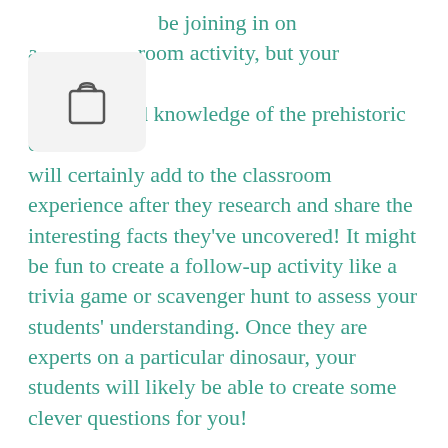be joining in on a classroom activity, but your students' newfound knowledge of the prehistoric creatures will certainly add to the classroom experience after they research and share the interesting facts they've uncovered! It might be fun to create a follow-up activity like a trivia game or scavenger hunt to assess your students' understanding. Once they are experts on a particular dinosaur, your students will likely be able to create some clever questions for you!
[Figure (illustration): Shopping bag / clipboard icon displayed in a light gray rounded rectangle overlay]
Plenty of additional resources to extend your study of dinosaurs are easily available, or you can do some digging of your own. Note: Although we may have come in on the tail end of this year's Earth Science Week (October 9 through 15), and missed